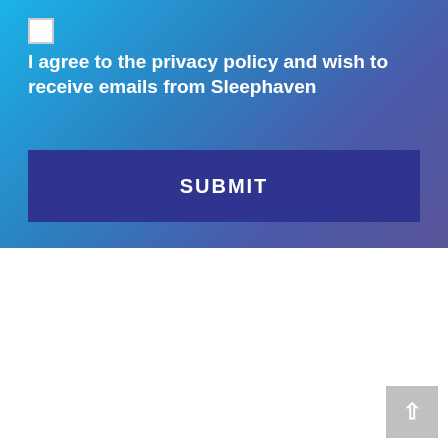I agree to the privacy policy and wish to receive emails from Sleephaven
SUBMIT
[Figure (logo): TrustMark Government Endorsed Quality logo with teal and dark blue interlocking chevron shapes]
[Figure (logo): ECO Environmental Cleaning Organisation Ltd certified cleaner logo with yellow-green eco text and globe checkmark, www.eco-org.org]